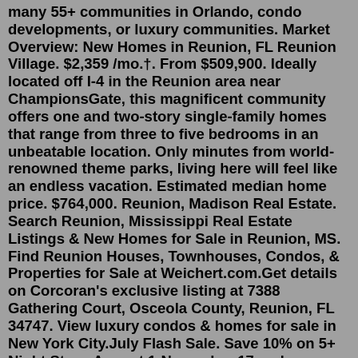many 55+ communities in Orlando, condo developments, or luxury communities. Market Overview: New Homes in Reunion, FL Reunion Village. $2,359 /mo.†. From $509,900. Ideally located off I-4 in the Reunion area near ChampionsGate, this magnificent community offers one and two-story single-family homes that range from three to five bedrooms in an unbeatable location. Only minutes from world-renowned theme parks, living here will feel like an endless vacation. Estimated median home price. $764,000. Reunion, Madison Real Estate. Search Reunion, Mississippi Real Estate Listings & New Homes for Sale in Reunion, MS. Find Reunion Houses, Townhouses, Condos, & Properties for Sale at Weichert.com.Get details on Corcoran's exclusive listing at 7388 Gathering Court, Osceola County, Reunion, FL 34747. View luxury condos & homes for sale in New York City.July Flash Sale. Save 10% on 5+ Night Stays August 1-November 17 and November 27-December 15 (Exclusions Apply) Reunion Resort Vacation Rental Homes and Condos. Vacation is